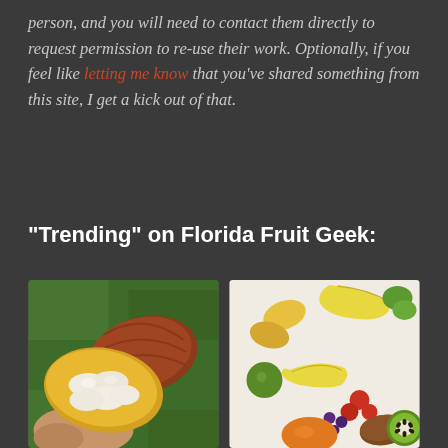person, and you will need to contact them directly to request permission to re-use their work. Optionally, if you feel like letting me know that you've shared something from this site, I get a kick out of that.
“Trending” on Florida Fruit Geek:
[Figure (photo): A hand holding an open cacao pod showing white pulp and seeds inside, with the red-brown outer shell visible, set against a green leafy background.]
[Figure (photo): An overhead view of a colorful assortment of tropical fruits including bananas, mangoes, kiwi, and various other exotic fruits laid out on a white surface.]